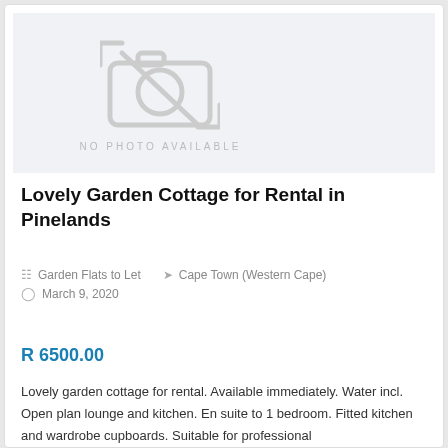[Figure (photo): No photo available placeholder with camera icon and text 'NO PHOTO AVAILABLE']
Lovely Garden Cottage for Rental in Pinelands
🛒 Garden Flats to Let   📍 Cape Town (Western Cape)
🕐 March 9, 2020
R 6500.00
Lovely garden cottage for rental. Available immediately. Water incl. Open plan lounge and kitchen. En suite to 1 bedroom. Fitted kitchen and wardrobe cupboards. Suitable for professional